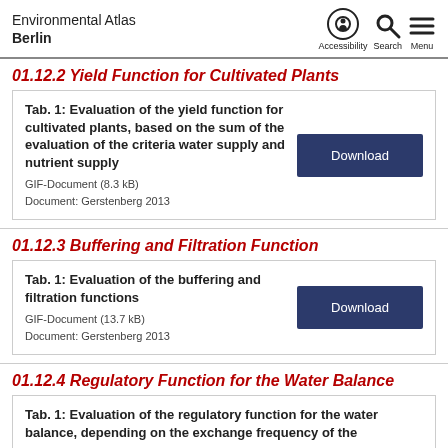Environmental Atlas Berlin
01.12.2 Yield Function for Cultivated Plants
Tab. 1: Evaluation of the yield function for cultivated plants, based on the sum of the evaluation of the criteria water supply and nutrient supply
GIF-Document (8.3 kB)
Document: Gerstenberg 2013
01.12.3 Buffering and Filtration Function
Tab. 1: Evaluation of the buffering and filtration functions
GIF-Document (13.7 kB)
Document: Gerstenberg 2013
01.12.4 Regulatory Function for the Water Balance
Tab. 1: Evaluation of the regulatory function for the water balance, depending on the exchange frequency of the